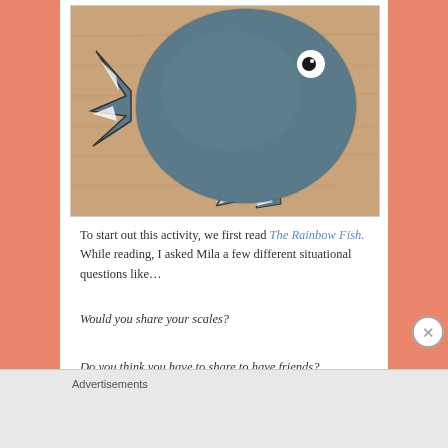[Figure (photo): A fabric or felt fish craft shaped like a round blue-grey fish with fins and a white eye, placed on a wooden surface]
To start out this activity, we first read The Rainbow Fish. While reading, I asked Mila a few different situational questions like…
Would you share your scales?
Do you think you have to share to have friends?
Advertisements